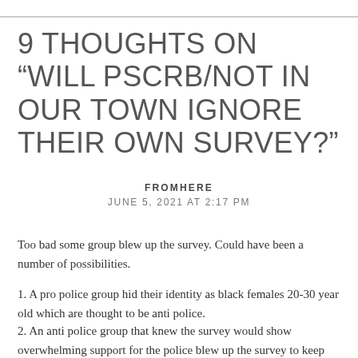9 THOUGHTS ON “WILL PSCRB/NOT IN OUR TOWN IGNORE THEIR OWN SURVEY?”
FROMHERE
JUNE 5, 2021 AT 2:17 PM
Too bad some group blew up the survey. Could have been a number of possibilities.
1. A pro police group hid their identity as black females 20-30 year old which are thought to be anti police.
2. An anti police group that knew the survey would show overwhelming support for the police blew up the survey to keep the results in question. Seems unlikely because they would